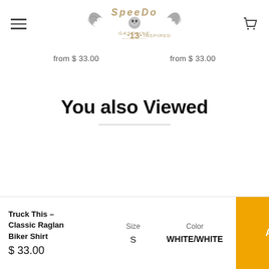[Figure (logo): Speed 13 Gasoline Inspired brand logo with eagle wings and skull]
from $ 33.00
from $ 33.00
You also Viewed
Truck This – Classic Raglan Biker Shirt
$ 33.00
Size
S
Color
WHITE/WHITE
Add to Cart